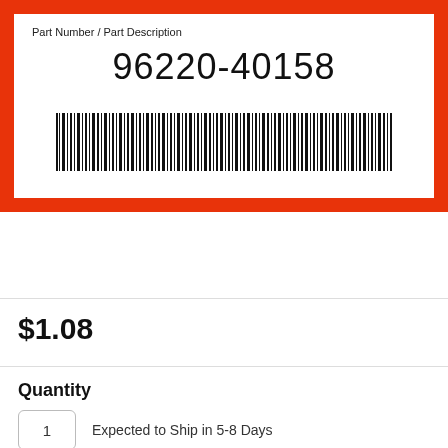[Figure (other): Product label with red border containing part number 96220-40158 and barcode]
Part Number / Part Description
96220-40158
$1.08
Quantity
1  Expected to Ship in 5-8 Days